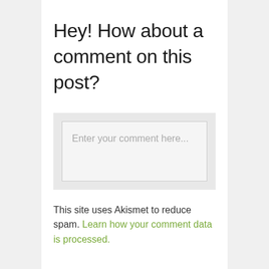Hey! How about a comment on this post?
[Figure (screenshot): Comment input text area box with placeholder text 'Enter your comment here...']
This site uses Akismet to reduce spam. Learn how your comment data is processed.